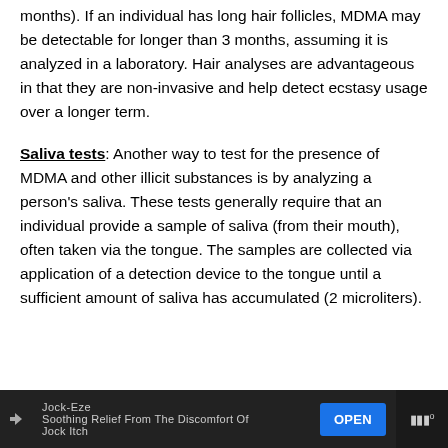months). If an individual has long hair follicles, MDMA may be detectable for longer than 3 months, assuming it is analyzed in a laboratory. Hair analyses are advantageous in that they are non-invasive and help detect ecstasy usage over a longer term.
Saliva tests: Another way to test for the presence of MDMA and other illicit substances is by analyzing a person's saliva. These tests generally require that an individual provide a sample of saliva (from their mouth), often taken via the tongue. The samples are collected via application of a detection device to the tongue until a sufficient amount of saliva has accumulated (2 microliters).
[Figure (screenshot): Advertisement banner at the bottom of the page. Shows 'Jock-Eze' brand with tagline 'Soothing Relief From The Discomfort Of Jock Itch' and an OPEN button. Dark background with white text.]